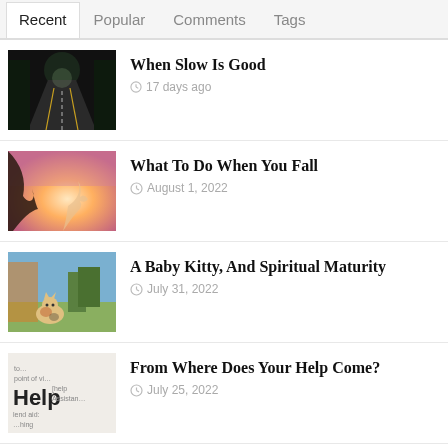Recent | Popular | Comments | Tags
When Slow Is Good — 17 days ago
What To Do When You Fall — August 1, 2022
A Baby Kitty, And Spiritual Maturity — July 31, 2022
From Where Does Your Help Come? — July 25, 2022
Families Without Fathers — July 17, 2022